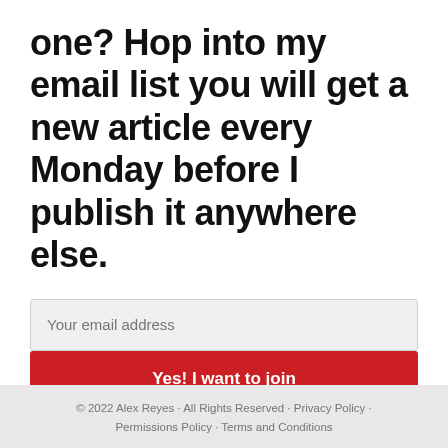one? Hop into my email list you will get a new article every Monday before I publish it anywhere else.
[Figure (other): Email subscription form with an email input field and a red submit button labeled 'Yes! I want to join']
© 2022 Alex Reyes · All Rights Reserved · Privacy Policy · Permissions Policy · Terms and Conditions